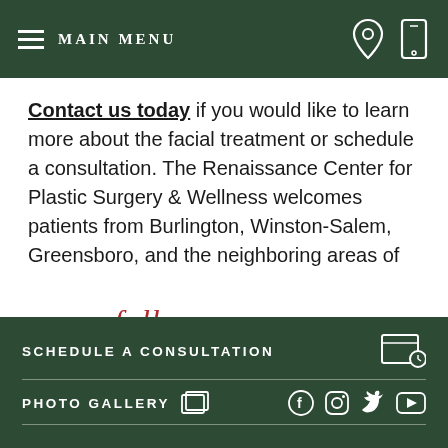MAIN MENU
Contact us today if you would like to learn more about the facial treatment or schedule a consultation. The Renaissance Center for Plastic Surgery & Wellness welcomes patients from Burlington, Winston-Salem, Greensboro, and the neighboring areas of North Carolina.
[Figure (screenshot): follow our text in cursive red script]
SCHEDULE A CONSULTATION
PHOTO GALLERY
[Figure (other): Social media icons: Facebook, Instagram, Twitter, YouTube]